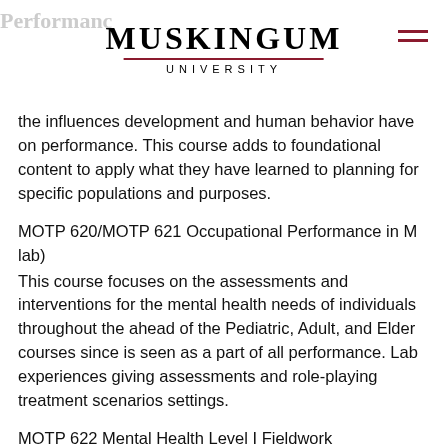Muskingum University
the influences development and human behavior have on performance. This course adds to foundational content to apply what they have learned to planning for specific populations and purposes.
MOTP 620/MOTP 621 Occupational Performance in M lab)
This course focuses on the assessments and interventions for the mental health needs of individuals throughout the ahead of the Pediatric, Adult, and Elder courses since is seen as a part of all performance. Lab experiences giving assessments and role-playing treatment scenarios settings.
MOTP 622 Mental Health Level I Fieldwork